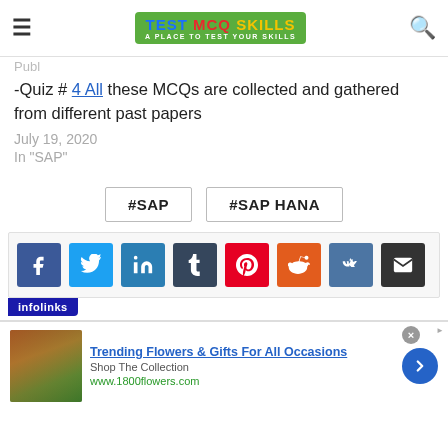TEST MCQ SKILLS - A PLACE TO TEST YOUR SKILLS
-Quiz # 4 All these MCQs are collected and gathered from different past papers
July 19, 2020
In "SAP"
#SAP
#SAP HANA
[Figure (screenshot): Social media share buttons: Facebook, Twitter, LinkedIn, Tumblr, Pinterest, Reddit, VK, Email]
[Figure (screenshot): Infolinks advertisement banner for Trending Flowers & Gifts For All Occasions from www.1800flowers.com]